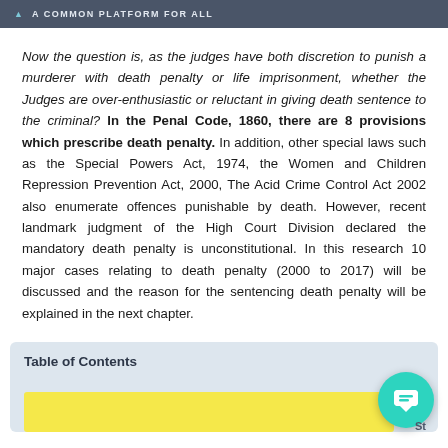A COMMON PLATFORM FOR ALL
Now the question is, as the judges have both discretion to punish a murderer with death penalty or life imprisonment, whether the Judges are over-enthusiastic or reluctant in giving death sentence to the criminal? In the Penal Code, 1860, there are 8 provisions which prescribe death penalty. In addition, other special laws such as the Special Powers Act, 1974, the Women and Children Repression Prevention Act, 2000, The Acid Crime Control Act 2002 also enumerate offences punishable by death. However, recent landmark judgment of the High Court Division declared the mandatory death penalty is unconstitutional. In this research 10 major cases relating to death penalty (2000 to 2017) will be discussed and the reason for the sentencing death penalty will be explained in the next chapter.
Table of Contents